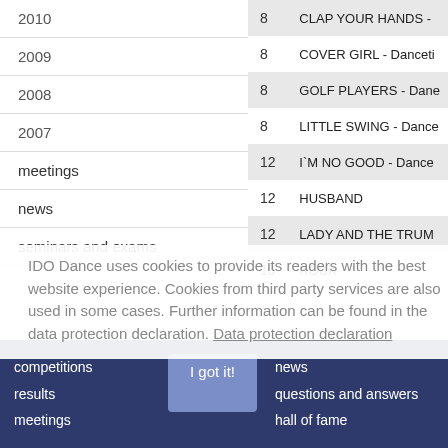2010
2009
2008
2007
meetings
news
seminars and exams
|  |  |
| --- | --- |
| 8 | CLAP YOUR HANDS - |
| 8 | COVER GIRL - Danceti |
| 8 | GOLF PLAYERS - Dane |
| 8 | LITTLE SWING - Dance |
| 12 | I`M NO GOOD - Dance |
| 12 | HUSBAND |
| 12 | LADY AND THE TRUM |
| 15 | ROCK |
IDO Dance uses cookies to provide its readers with the best website experience. Cookies from third party services are also used in some cases. Further information can be found in the data protection declaration. Data protection declaration
competitions results meetings | I got it! | news questions and answers hall of fame